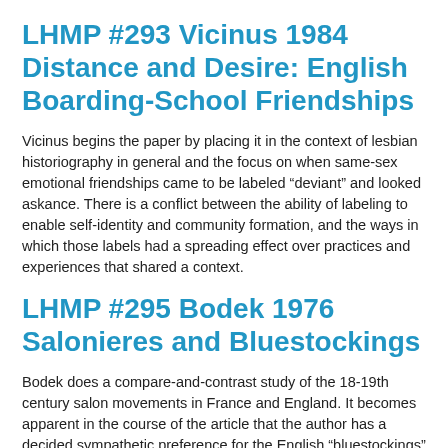LHMP #293 Vicinus 1984 Distance and Desire: English Boarding-School Friendships
Vicinus begins the paper by placing it in the context of lesbian historiography in general and the focus on when same-sex emotional friendships came to be labeled “deviant” and looked askance. There is a conflict between the ability of labeling to enable self-identity and community formation, and the ways in which those labels had a spreading effect over practices and experiences that shared a context.
LHMP #295 Bodek 1976 Salonieres and Bluestockings
Bodek does a compare-and-contrast study of the 18-19th century salon movements in France and England. It becomes apparent in the course of the article that the author has a decided sympathetic preference for the English “bluestockings” as opposed to the French salonières, but this needn’t undermine the